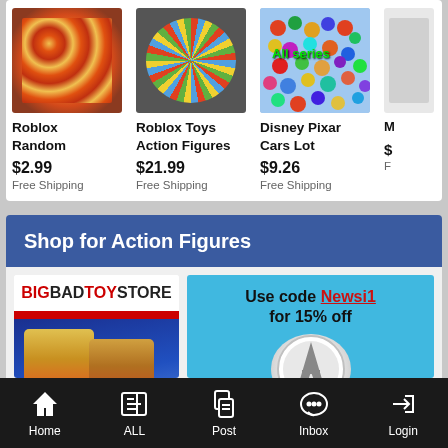[Figure (screenshot): Roblox Random product image - colorful circular pattern]
Roblox Random
$2.99
Free Shipping
[Figure (screenshot): Roblox Toys Action Figures product image]
Roblox Toys Action Figures
$21.99
Free Shipping
[Figure (screenshot): Disney Pixar Cars Lot product image with All series text]
Disney Pixar Cars Lot
$9.26
Free Shipping
Shop for Action Figures
[Figure (screenshot): BigBadToyStore advertisement banner with He-Man type action figures]
[Figure (screenshot): Use code Newsi1 for 15% off - coupon advertisement with Avengers logo]
Home  ALL  Post  Inbox  Login